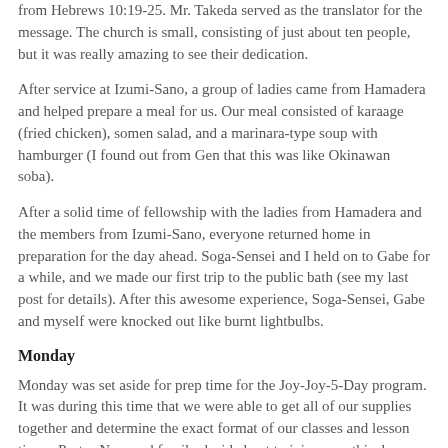from Hebrews 10:19-25. Mr. Takeda served as the translator for the message. The church is small, consisting of just about ten people, but it was really amazing to see their dedication.
After service at Izumi-Sano, a group of ladies came from Hamadera and helped prepare a meal for us. Our meal consisted of karaage (fried chicken), somen salad, and a marinara-type soup with hamburger (I found out from Gen that this was like Okinawan soba).
After a solid time of fellowship with the ladies from Hamadera and the members from Izumi-Sano, everyone returned home in preparation for the day ahead. Soga-Sensei and I held on to Gabe for a while, and we made our first trip to the public bath (see my last post for details). After this awesome experience, Soga-Sensei, Gabe and myself were knocked out like burnt lightbulbs.
Monday
Monday was set aside for prep time for the Joy-Joy-5-Day program. It was during this time that we were able to get all of our supplies together and determine the exact format of our classes and lesson times. Pastor Nam and family decided not to join us on this day because they were very tired and Noah was still transitioning from his old sleep schedule.